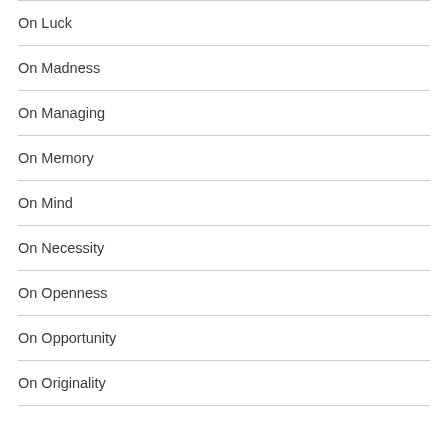On Luck
On Madness
On Managing
On Memory
On Mind
On Necessity
On Openness
On Opportunity
On Originality